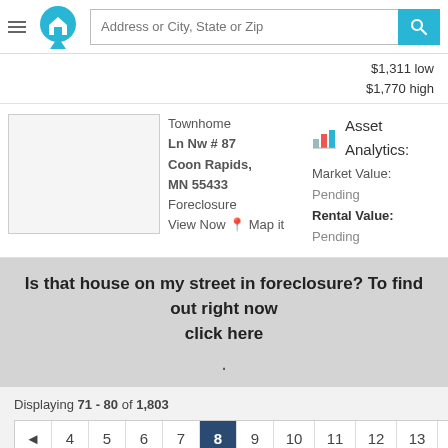Address or City, State or Zip
$1,311 low
$1,770 high
Townhome
Ln Nw # 87
Coon Rapids, MN 55433
Foreclosure
View Now  Map it
Asset Analytics:
Market Value:
Pending
Rental Value:
Pending
Is that house on my street in foreclosure? To find out right now
click here
.
Displaying 71 - 80 of 1,803
4 5 6 7 8 9 10 11 12 13